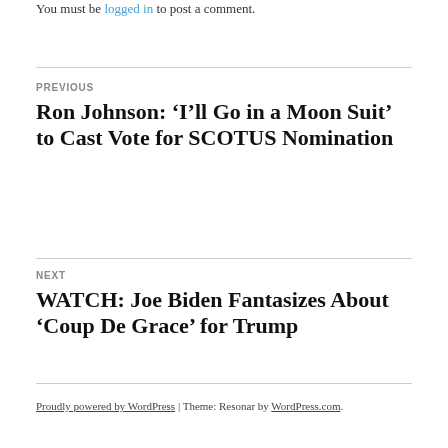You must be logged in to post a comment.
PREVIOUS
Ron Johnson: ‘I’ll Go in a Moon Suit’ to Cast Vote for SCOTUS Nomination
NEXT
WATCH: Joe Biden Fantasizes About ‘Coup De Grace’ for Trump
Proudly powered by WordPress | Theme: Resonar by WordPress.com.